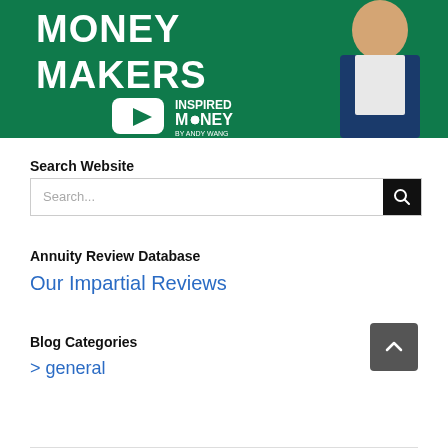[Figure (photo): Banner image showing a smiling man in a dark blue suit against a green background. White bold text reads 'MONEY MAKERS'. YouTube play button icon and 'INSPIRED MONEY by Andy Wang' logo visible.]
Search Website
Search...
Annuity Review Database
Our Impartial Reviews
Blog Categories
> general